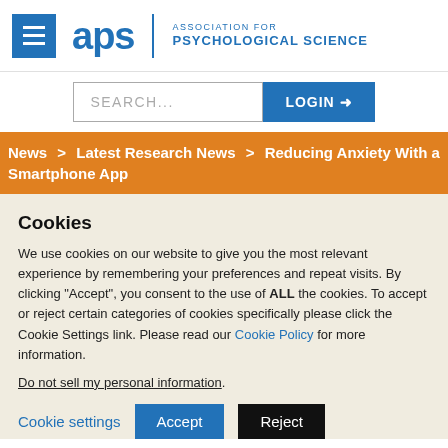[Figure (logo): APS - Association for Psychological Science logo with hamburger menu icon]
[Figure (screenshot): Search bar and Login button UI elements]
News > Latest Research News > Reducing Anxiety With a Smartphone App
Cookies
We use cookies on our website to give you the most relevant experience by remembering your preferences and repeat visits. By clicking “Accept”, you consent to the use of ALL the cookies. To accept or reject certain categories of cookies specifically please click the Cookie Settings link. Please read our Cookie Policy for more information.
Do not sell my personal information.
Cookie settings  Accept  Reject